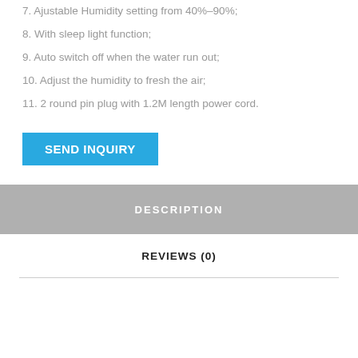7. Ajustable Humidity setting from 40%-90%;
8. With sleep light function;
9. Auto switch off when the water run out;
10. Adjust the humidity to fresh the air;
11. 2 round pin plug with 1.2M length power cord.
SEND INQUIRY
DESCRIPTION
REVIEWS (0)